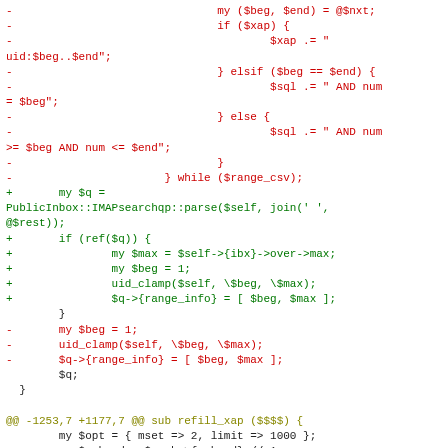Code diff showing git patch with removed lines in red, added lines in green, context lines in black, and hunk header in olive.